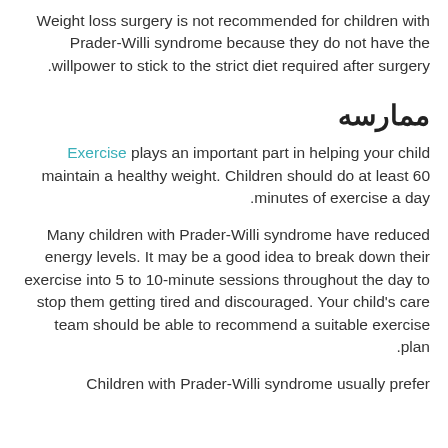Weight loss surgery is not recommended for children with Prader-Willi syndrome because they do not have the willpower to stick to the strict diet required after surgery.
ممارسه
Exercise plays an important part in helping your child maintain a healthy weight. Children should do at least 60 minutes of exercise a day.
Many children with Prader-Willi syndrome have reduced energy levels. It may be a good idea to break down their exercise into 5 to 10-minute sessions throughout the day to stop them getting tired and discouraged. Your child's care team should be able to recommend a suitable exercise plan.
Children with Prader-Willi syndrome usually prefer